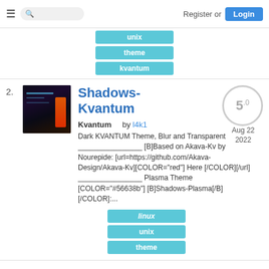Register or Login
unix
theme
kvantum
2.
[Figure (screenshot): Thumbnail screenshot of Shadows-Kvantum dark theme showing dark blue/purple desktop with orange accent]
Shadows-Kvantum
5.0
Aug 22 2022
Kvantum     by l4k1
Dark KVANTUM Theme, Blur and Transparent ______________ [B]Based on Akava-Kv by Nourepide: [url=https://github.com/Akava-Design/Akava-Kv][COLOR="red"] Here [/COLOR][/url] ______________ Plasma Theme [COLOR="#56638b"] [B]Shadows-Plasma[/B] [/COLOR]:...
linux
unix
theme